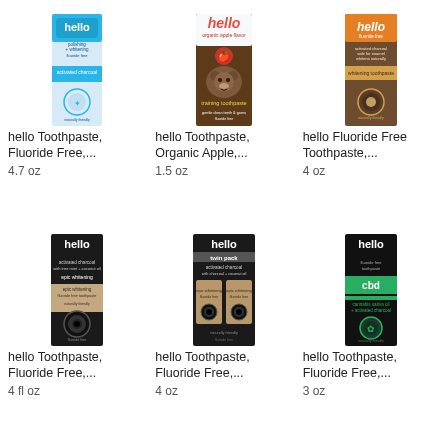[Figure (photo): hello Toothpaste blue/white box with 'hello' logo in white on blue, Fluoride Free, 4.7 oz]
hello Toothpaste, Fluoride Free,...
4.7 oz
[Figure (photo): hello Toothpaste brown box with bear face graphic and apple, Organic Apple, training toothpaste, 1.5 oz]
hello Toothpaste, Organic Apple,...
1.5 oz
[Figure (photo): hello Fluoride Free Toothpaste orange/brown box, whitening toothpaste, 4 oz]
hello Fluoride Free Toothpaste,...
4 oz
[Figure (photo): hello Toothpaste black box, activated charcoal with coconut oil, epic whitening, fluoride free, 4 fl oz]
hello Toothpaste, Fluoride Free,...
4 fl oz
[Figure (photo): hello twin pack activated charcoal with charcoal and coconut oil, epic whitening, fluoride free, black box, 4 oz]
hello Toothpaste, Fluoride Free,...
4 oz
[Figure (photo): hello cbd fluoride free toothpaste, black box with green accent, activated charcoal, cannabis sativa oil, 3 oz]
hello Toothpaste, Fluoride Free,...
3 oz